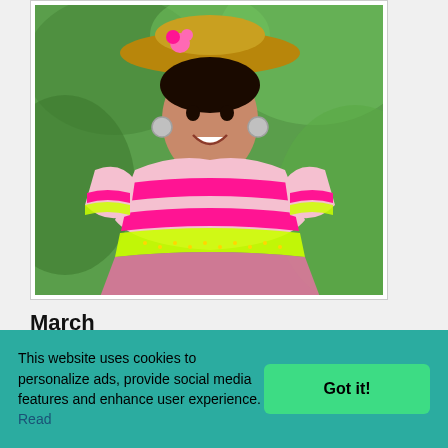[Figure (photo): A young woman smiling, wearing a traditional colorful Mexican folkloric dress with pink and yellow-green stripes and a straw hat with pink flowers, set against a green leafy background.]
March
This website uses cookies to personalize ads, provide social media features and enhance user experience. Read
Got it!